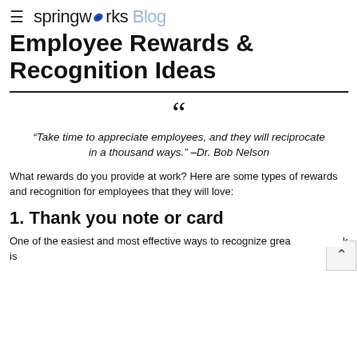≡ springworks Blog
Employee Rewards & Recognition Ideas
“Take time to appreciate employees, and they will reciprocate in a thousand ways.” –Dr. Bob Nelson
What rewards do you provide at work? Here are some types of rewards and recognition for employees that they will love:
1. Thank you note or card
One of the easiest and most effective ways to recognize grea… k is